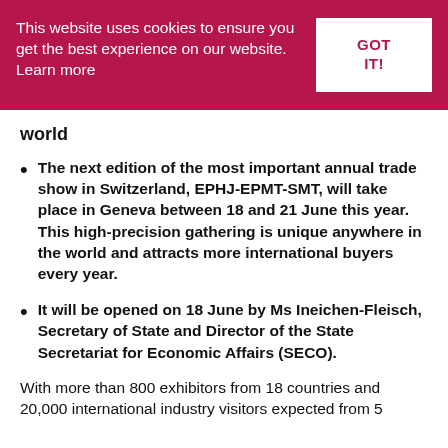This website uses cookies to ensure you get the best experience on our website. Learn more
GOT IT!
world
The next edition of the most important annual trade show in Switzerland, EPHJ-EPMT-SMT, will take place in Geneva between 18 and 21 June this year. This high-precision gathering is unique anywhere in the world and attracts more international buyers every year.
It will be opened on 18 June by Ms Ineichen-Fleisch, Secretary of State and Director of the State Secretariat for Economic Affairs (SECO).
With more than 800 exhibitors from 18 countries and 20,000 international industry visitors expected from 5